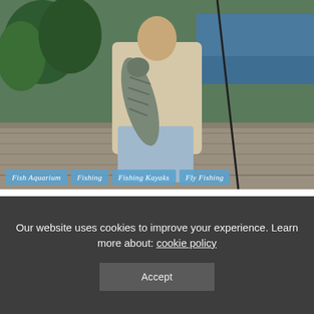[Figure (photo): Person holding a large striped bass fish on a dock/pier near water, with trees and a boat visible in the background. Person wearing a light beige jacket and jeans.]
Fish Aquarium | Fishing | Fishing Kayaks | Fly Fishing
When Do Striped Bass Run in Alabama
Our website uses cookies to improve your experience. Learn more about: cookie policy
Accept